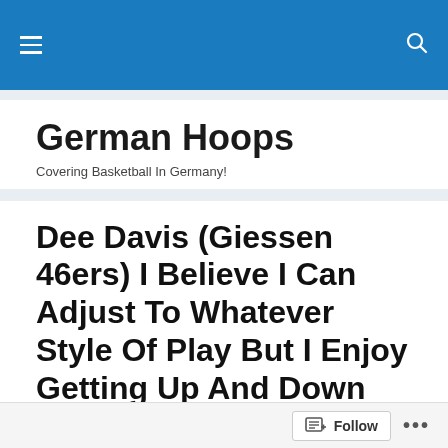German Hoops — navigation bar
German Hoops
Covering Basketball In Germany!
Dee Davis (Giessen 46ers) I Believe I Can Adjust To Whatever Style Of Play But I Enjoy Getting Up And Down The Court
Posted by Miles Schmidt-Scheuber